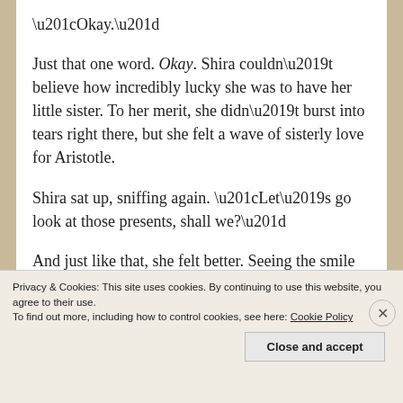“Okay.”
Just that one word. Okay. Shira couldn’t believe how incredibly lucky she was to have her little sister. To her merit, she didn’t burst into tears right there, but she felt a wave of sisterly love for Aristotle.
Shira sat up, sniffing again. “Let’s go look at those presents, shall we?”
And just like that, she felt better. Seeing the smile light up Aristotle’s face.
Privacy & Cookies: This site uses cookies. By continuing to use this website, you agree to their use.
To find out more, including how to control cookies, see here: Cookie Policy